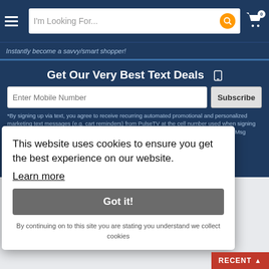I'm Looking For...
Instantly become a savvy/smart shopper!
Get Our Very Best Text Deals 📱
*By signing up via text, you agree to receive recurring automated promotional and personalized marketing text messages (e.g. cart reminders) from PulseTV at the cell number used when signing up. Consent is not a condition of any purchase. Reply HELP for help and STOP to cancel. Msg frequency varies. Msg & data rates may apply. View Terms & Privacy
This website uses cookies to ensure you get the best experience on our website.
Learn more
Got it!
By continuing on to this site you are stating you understand we collect cookies
24hr Phone Orders
800-711-1361
Customer Service Hours...
Getting Around
Need Help
RECENT